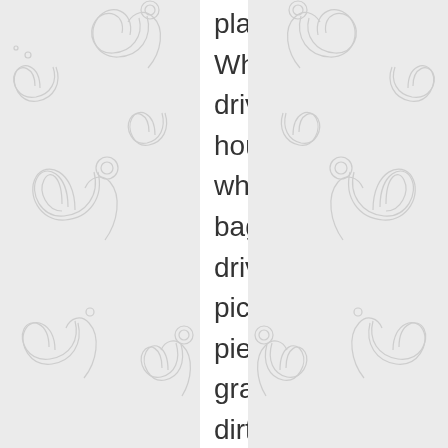placed. When you drive at my house you wheel your bag up the driveway picking up pieces of grass and dirt. Once inside you fling the bag onto the pristine guest bed. Upon seeing this I can hardly speak as all I can see are muddy shoes, spit, snotty hands, dirt, grass, grease, grime, and the germs of a million people all converging on my beautiful comforter. You might as well take off your shoes and rub them up